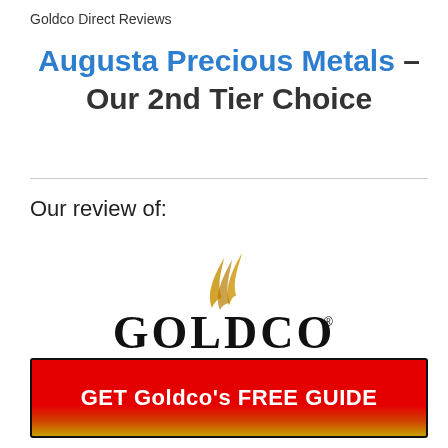Goldco Direct Reviews
Augusta Precious Metals – Our 2nd Tier Choice
Our review of:
[Figure (logo): Goldco logo with golden flame swoosh above the text GOLDCO in large bold black letters with a registered trademark symbol]
[Figure (infographic): Red button with gradient (red to orange-gold) and black border reading: GET Goldco's FREE GUIDE in bold white text]